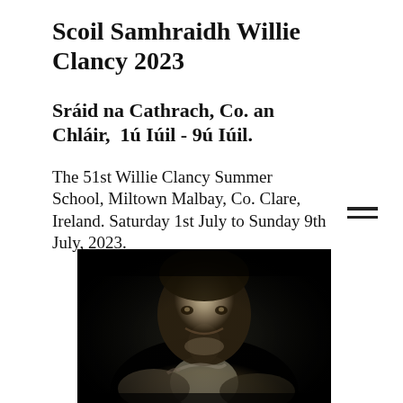Scoil Samhraidh Willie Clancy 2023
Sráid na Cathrach, Co. an Chláir,  1ú Iúil - 9ú Iúil.
The 51st Willie Clancy Summer School, Miltown Malbay, Co. Clare, Ireland. Saturday 1st July to Sunday 9th July, 2023.
[Figure (photo): Black and white photograph of a man (Willie Clancy) smiling and holding what appears to be uilleann pipes, shown from approximately chest up against a dark background.]